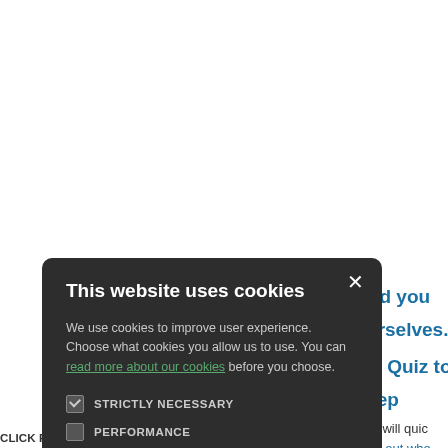Week did you kno
bout ourselves.
ind Plan Quiz to g
ess, sleep better a
ve hope you will quic
ervices. Find out whe
[Figure (screenshot): Cookie consent modal dialog on a medical/health website. Dark background (#2d2d2d) modal with title 'This website uses cookies', body text explaining cookie usage with a green link 'read more about our cookies', four checkboxes (STRICTLY NECESSARY checked, PERFORMANCE unchecked, TARGETING unchecked, FUNCTIONALITY unchecked), and two buttons: green 'ACCEPT ALL' and outlined 'DECLINE ALL'. Close X button in top right.]
CLICK FOR RESULTS OF OUR LATEST PATIENT PARTICIPATIO